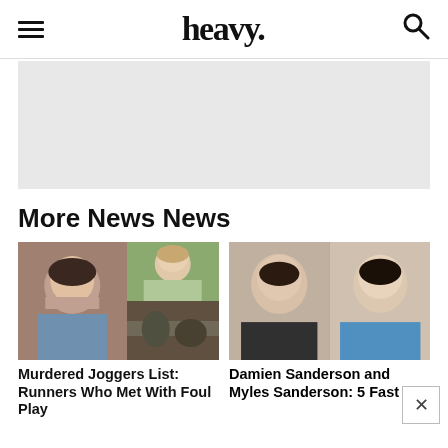heavy.
[Figure (other): Advertisement placeholder, light gray rectangle]
More News News
[Figure (photo): Collage of three photos: woman with dark hair (left), young woman outdoors smiling (top right), black and white photo of figures (bottom right)]
Murdered Joggers List: Runners Who Met With Foul Play
[Figure (photo): Mugshot-style photo of two men side by side: Damien Sanderson and Myles Sanderson]
Damien Sanderson and Myles Sanderson: 5 Fast Facts You Need to Know